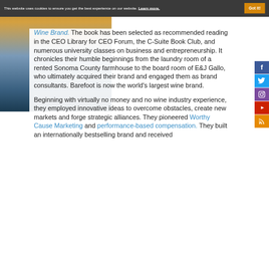This website uses cookies to ensure you get the best experience on our website. Learn more. Got it!
Wine Brand. The book has been selected as recommended reading in the CEO Library for CEO Forum, the C-Suite Book Club, and numerous university classes on business and entrepreneurship. It chronicles their humble beginnings from the laundry room of a rented Sonoma County farmhouse to the board room of E&J Gallo, who ultimately acquired their brand and engaged them as brand consultants. Barefoot is now the world’s largest wine brand.
Beginning with virtually no money and no wine industry experience, they employed innovative ideas to overcome obstacles, create new markets and forge strategic alliances. They pioneered Worthy Cause Marketing and performance-based compensation. They built an internationally bestselling brand and received...